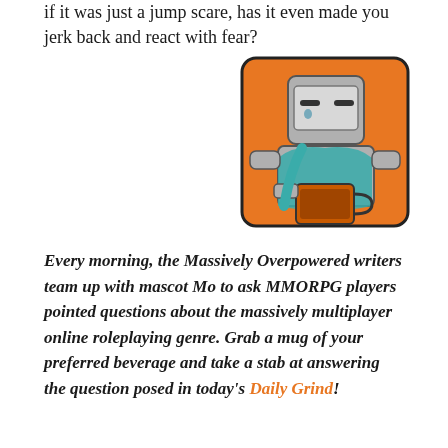if it was just a jump scare, has it even made you jerk back and react with fear?
[Figure (illustration): Cartoon mascot character Mo, a grey blocky robot-like figure wearing a teal hoodie/scarf, holding an orange mug, drawn in comic style against an orange background with rounded square border.]
Every morning, the Massively Overpowered writers team up with mascot Mo to ask MMORPG players pointed questions about the massively multiplayer online roleplaying genre. Grab a mug of your preferred beverage and take a stab at answering the question posed in today's Daily Grind!
Advertisement